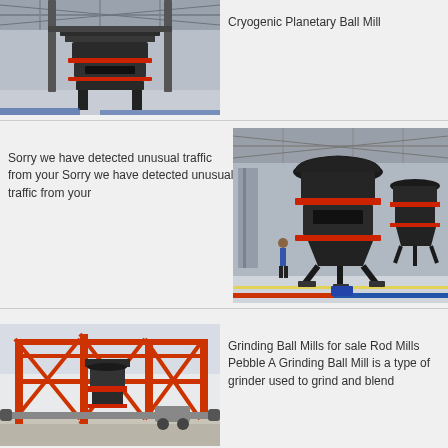[Figure (photo): Industrial cryogenic planetary ball mill machine in a factory/warehouse setting]
Cryogenic Planetary Ball Mill
Sorry we have detected unusual traffic from your Sorry we have detected unusual traffic from your
[Figure (photo): Large industrial grinding mill machine in a factory floor with red and blue floor markings]
[Figure (photo): Large industrial grinding structure with red metal framework in an outdoor/semi-outdoor industrial setting]
Grinding Ball Mills for sale Rod Mills Pebble A Grinding Ball Mill is a type of grinder used to grind and blend